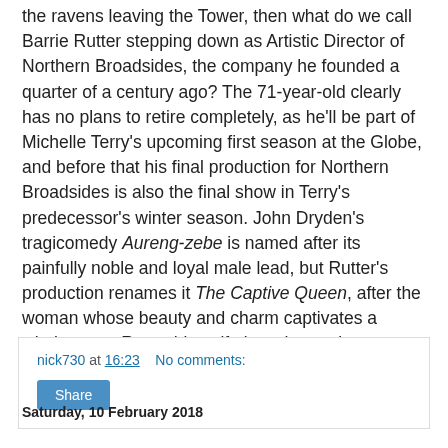the ravens leaving the Tower, then what do we call Barrie Rutter stepping down as Artistic Director of Northern Broadsides, the company he founded a quarter of a century ago? The 71-year-old clearly has no plans to retire completely, as he'll be part of Michelle Terry's upcoming first season at the Globe, and before that his final production for Northern Broadsides is also the final show in Terry's predecessor's winter season. John Dryden's tragicomedy Aureng-zebe is named after its painfully noble and loyal male lead, but Rutter's production renames it The Captive Queen, after the woman whose beauty and charm captivates a whole court. Rutter himself plays the ageing Emperor, false reports of whose death have kicked off a civil war between his four sons over who gets to succeed him.
nick730 at 16:23    No comments:
Share
Saturday, 10 February 2018